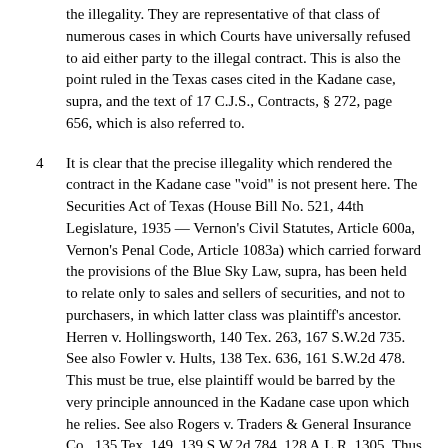the illegality. They are representative of that class of numerous cases in which Courts have universally refused to aid either party to the illegal contract. This is also the point ruled in the Texas cases cited in the Kadane case, supra, and the text of 17 C.J.S., Contracts, § 272, page 656, which is also referred to.
4
It is clear that the precise illegality which rendered the contract in the Kadane case "void" is not present here. The Securities Act of Texas (House Bill No. 521, 44th Legislature, 1935 — Vernon's Civil Statutes, Article 600a, Vernon's Penal Code, Article 1083a) which carried forward the provisions of the Blue Sky Law, supra, has been held to relate only to sales and sellers of securities, and not to purchasers, in which latter class was plaintiff's ancestor. Herren v. Hollingsworth, 140 Tex. 263, 167 S.W.2d 735. See also Fowler v. Hults, 138 Tex. 636, 161 S.W.2d 478. This must be true, else plaintiff would be barred by the very principle announced in the Kadane case upon which he relies. See also Rogers v. Traders & General Insurance Co., 135 Tex. 149, 139 S.W.2d 784, 128 A.L.R. 1305. Thus the illegality here is a "one-sided" illegality, — only on the part of the seller, and the reason for declaring the contract nonenforcible in the Kadane case is not present. These considerations may afford no reason for adjudging the deeds in